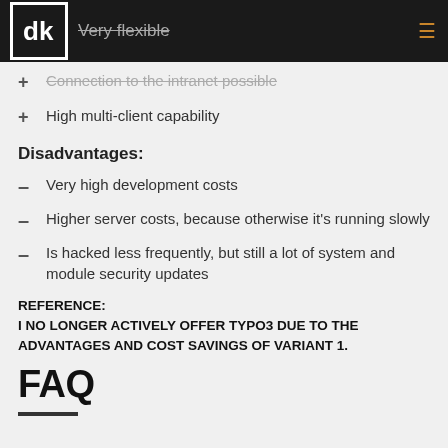Very flexible
Connection to the intranet possible
High multi-client capability
Disadvantages:
Very high development costs
Higher server costs, because otherwise it's running slowly
Is hacked less frequently, but still a lot of system and module security updates
REFERENCE:
I NO LONGER ACTIVELY OFFER TYPO3 DUE TO THE ADVANTAGES AND COST SAVINGS OF VARIANT 1.
FAQ